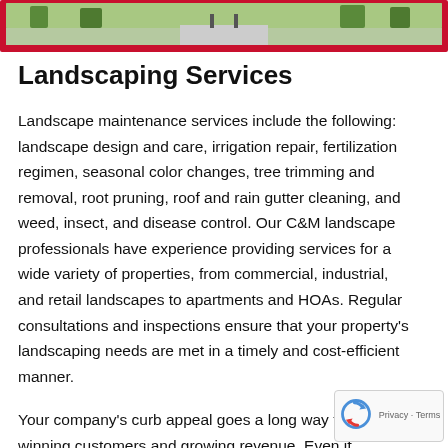[Figure (photo): Outdoor landscaped area with red border/frame overlay at the top of the page]
Landscaping Services
Landscape maintenance services include the following: landscape design and care, irrigation repair, fertilization regimen, seasonal color changes, tree trimming and removal, root pruning, roof and rain gutter cleaning, and weed, insect, and disease control. Our C&M landscape professionals have experience providing services for a wide variety of properties, from commercial, industrial, and retail landscapes to apartments and HOAs. Regular consultations and inspections ensure that your property's landscaping needs are met in a timely and cost-efficient manner.
Your company's curb appeal goes a long way toward winning customers and growing revenue. Even if